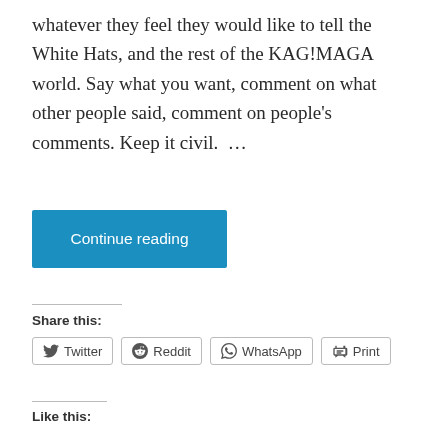whatever they feel they would like to tell the White Hats, and the rest of the KAG!MAGA world. Say what you want, comment on what other people said, comment on people's comments. Keep it civil.  …
Continue reading
Share this:
Twitter   Reddit   WhatsApp   Print
Like this:
Loading...
Gudthots